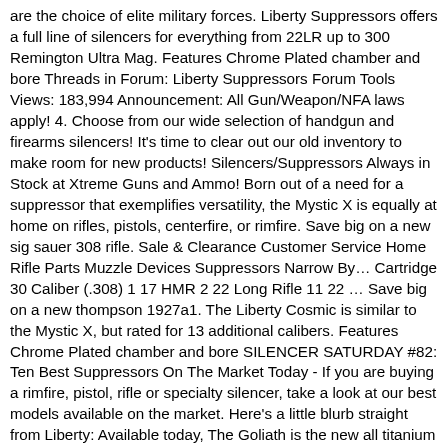are the choice of elite military forces. Liberty Suppressors offers a full line of silencers for everything from 22LR up to 300 Remington Ultra Mag. Features Chrome Plated chamber and bore Threads in Forum: Liberty Suppressors Forum Tools Views: 183,994 Announcement: All Gun/Weapon/NFA laws apply! 4. Choose from our wide selection of handgun and firearms silencers! It's time to clear out our old inventory to make room for new products! Silencers/Suppressors Always in Stock at Xtreme Guns and Ammo! Born out of a need for a suppressor that exemplifies versatility, the Mystic X is equally at home on rifles, pistols, centerfire, or rimfire. Save big on a new sig sauer 308 rifle. Sale & Clearance Customer Service Home Rifle Parts Muzzle Devices Suppressors Narrow By… Cartridge 30 Caliber (.308) 1 17 HMR 2 22 Long Rifle 11 22 … Save big on a new thompson 1927a1. The Liberty Cosmic is similar to the Mystic X, but rated for 13 additional calibers. Features Chrome Plated chamber and bore SILENCER SATURDAY #82: Ten Best Suppressors On The Market Today - If you are buying a rimfire, pistol, rifle or specialty silencer, take a look at our best models available on the market. Here's a little blurb straight from Liberty: Available today, The Goliath is the new all titanium 458 SOCOM silencer from Liberty Suppressors. This one is a new 24-inch burro with the octagonal barrel actually on it . 36 Liberty London US coupons now on RetailMeNot. In recent times these suppressors have to be very popular starting from .22 caliber, which goes all the way to .300 Ultra Win Mag. Liberty Suppressors' Cosmic, more than you think